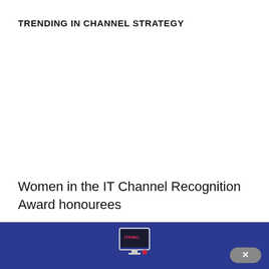TRENDING IN CHANNEL STRATEGY
Women in the IT Channel Recognition Award honourees
[Figure (logo): ITPRO logo icon in a dark blue footer bar with a close button]